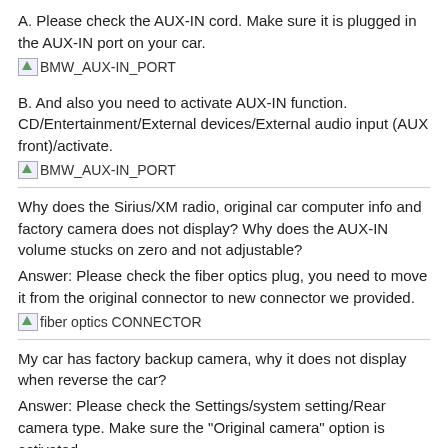A. Please check the AUX-IN cord. Make sure it is plugged in the AUX-IN port on your car.
[Figure (photo): Broken image placeholder labeled BMW_AUX-IN_PORT]
B. And also you need to activate AUX-IN function. CD/Entertainment/External devices/External audio input (AUX front)/activate.
[Figure (photo): Broken image placeholder labeled BMW_AUX-IN_PORT]
Why does the Sirius/XM radio, original car computer info and factory camera does not display? Why does the AUX-IN volume stucks on zero and not adjustable?
Answer: Please check the fiber optics plug, you need to move it from the original connector to new connector we provided.
[Figure (photo): Broken image placeholder labeled fiber optics CONNECTOR]
My car has factory backup camera, why it does not display when reverse the car?
Answer: Please check the Settings/system setting/Rear camera type. Make sure the "Original camera" option is activated.